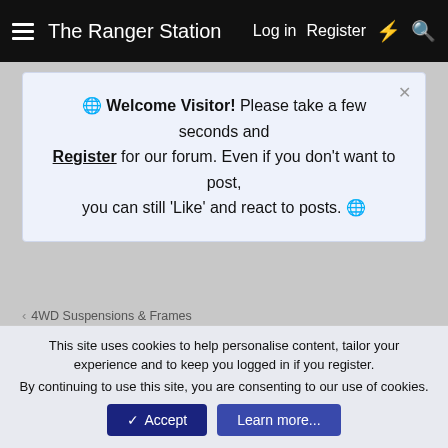The Ranger Station   Log in   Register
Welcome Visitor! Please take a few seconds and Register for our forum. Even if you don't want to post, you can still 'Like' and react to posts.
< 4WD Suspensions & Frames
Explorer knuckle to ranger swap?
dlevi2121 · Jan 14, 2022
dlevi2121
Member
Jan 14, 2022   #1
This site uses cookies to help personalise content, tailor your experience and to keep you logged in if you register.
By continuing to use this site, you are consenting to our use of cookies.